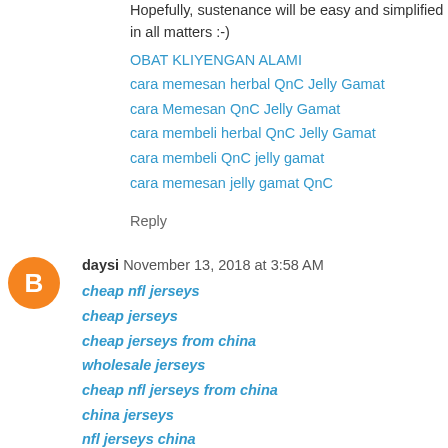Hopefully, sustenance will be easy and simplified in all matters :-)
OBAT KLIYENGAN ALAMI
cara memesan herbal QnC Jelly Gamat
cara Memesan QnC Jelly Gamat
cara membeli herbal QnC Jelly Gamat
cara membeli QnC jelly gamat
cara memesan jelly gamat QnC
Reply
daysi November 13, 2018 at 3:58 AM
cheap nfl jerseys
cheap jerseys
cheap jerseys from china
wholesale jerseys
cheap nfl jerseys from china
china jerseys
nfl jerseys china
wholesale nfl jerseys
cheap authentic nfl jerseys
cheap jerseys online